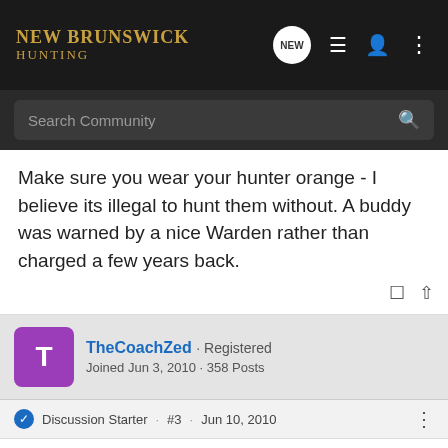New Brunswick Hunting
Make sure you wear your hunter orange - I believe its illegal to hunt them without. A buddy was warned by a nice Warden rather than charged a few years back.
TheCoachZed · Registered
Joined Jun 3, 2010 · 358 Posts
Discussion Starter · #3 · Jun 10, 2010
bucksnducks said:
Make sure you wear your hunter orange - I believe its illegal to hunt them without. A buddy was warned by a nice Warden rather than charged a few years back.